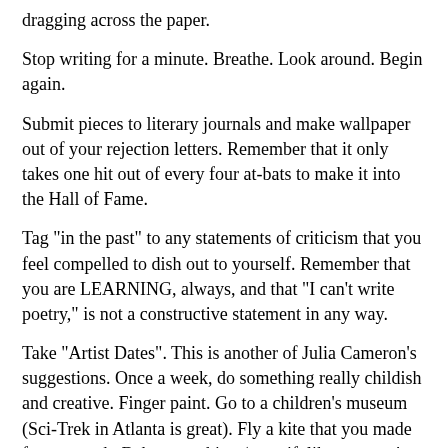dragging across the paper.
Stop writing for a minute. Breathe. Look around. Begin again.
Submit pieces to literary journals and make wallpaper out of your rejection letters. Remember that it only takes one hit out of every four at-bats to make it into the Hall of Fame.
Tag "in the past" to any statements of criticism that you feel compelled to dish out to yourself. Remember that you are LEARNING, always, and that "I can't write poetry," is not a constructive statement in any way.
Take "Artist Dates". This is another of Julia Cameron's suggestions. Once a week, do something really childish and creative. Finger paint. Go to a children's museum (Sci-Trek in Atlanta is great). Fly a kite that you made from scratch. Bake something (even if, like me, you're not quite sure how to work that room where the oven is). Send homemade postcards to old friends just to say hello. Jump rope. This self-nourishing exercise reminds us that our artist is delicate and needs plenty of these nurturing dates to feel safe in exposing herself to us.
Take naps. They recharge the soul.
Tape-record yourself while you drive. I didn't realize until I had to